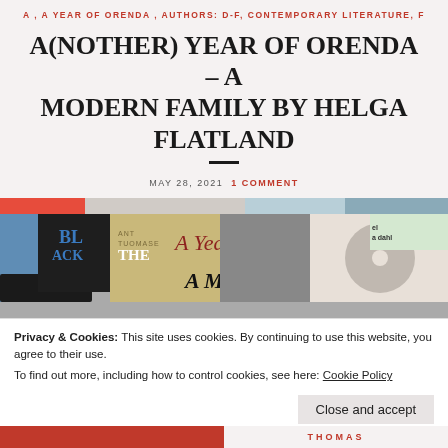A , A YEAR OF ORENDA , AUTHORS: D-F, CONTEMPORARY LITERATURE, F
A(NOTHER) YEAR OF ORENDA – A MODERN FAMILY BY HELGA FLATLAND
MAY 28, 2021  1 COMMENT
[Figure (photo): Collage image for A Year of Orenda featuring A Modern Family by Helga Flatland, with decorative script overlay text reading 'A Year of Orenda' and 'A Modern Family' over a grid of book covers]
Privacy & Cookies: This site uses cookies. By continuing to use this website, you agree to their use.
To find out more, including how to control cookies, see here: Cookie Policy
Close and accept
THOMAS